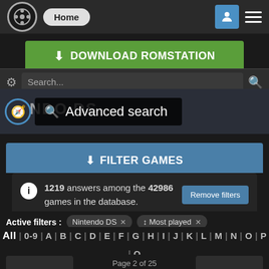[Figure (screenshot): ROMStation website header with logo, Home button, user icon, and hamburger menu]
⬇ DOWNLOAD ROMSTATION
Search...
Advanced search
⬇ FILTER GAMES
1219 answers among the 42986 games in the database.
Remove filters
Active filters :  Nintendo DS ✕  ↕ Most played ✕
All | 0-9 | A | B | C | D | E | F | G | H | I | J | K | L | M | N | O | P | Q | R | S | T | U | V | W | X | Y | Z
Page 2 of 25